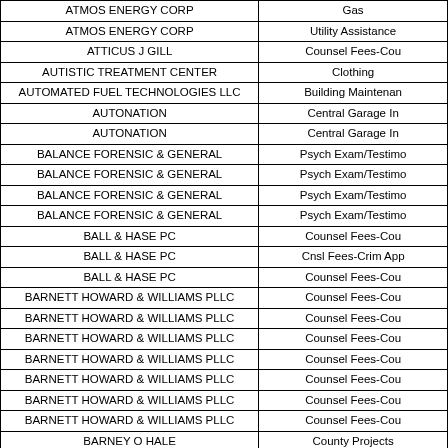| Vendor | Category |
| --- | --- |
| ATMOS ENERGY CORP | Gas |
| ATMOS ENERGY CORP | Utility Assistance |
| ATTICUS J GILL | Counsel Fees-Cou |
| AUTISTIC TREATMENT CENTER | Clothing |
| AUTOMATED FUEL TECHNOLOGIES LLC | Building Maintenan |
| AUTONATION | Central Garage In |
| AUTONATION | Central Garage In |
| BALANCE FORENSIC & GENERAL | Psych Exam/Testimo |
| BALANCE FORENSIC & GENERAL | Psych Exam/Testimo |
| BALANCE FORENSIC & GENERAL | Psych Exam/Testimo |
| BALANCE FORENSIC & GENERAL | Psych Exam/Testimo |
| BALL & HASE PC | Counsel Fees-Cou |
| BALL & HASE PC | Cnsl Fees-Crim App |
| BALL & HASE PC | Counsel Fees-Cou |
| BARNETT HOWARD & WILLIAMS PLLC | Counsel Fees-Cou |
| BARNETT HOWARD & WILLIAMS PLLC | Counsel Fees-Cou |
| BARNETT HOWARD & WILLIAMS PLLC | Counsel Fees-Cou |
| BARNETT HOWARD & WILLIAMS PLLC | Counsel Fees-Cou |
| BARNETT HOWARD & WILLIAMS PLLC | Counsel Fees-Cou |
| BARNETT HOWARD & WILLIAMS PLLC | Counsel Fees-Cou |
| BARNETT HOWARD & WILLIAMS PLLC | Counsel Fees-Cou |
| BARNEY O HALE | County Projects |
| BARRETT-ROBINSON INC | Building Maintenan |
| BARRY ALFORD | Counsel Fees-Co |